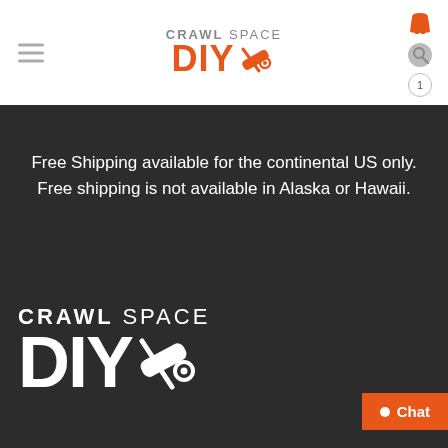[Figure (logo): Crawl Space DIY logo in header with orange DIY text and tool icon]
Free Shipping available for the continental US only. Free shipping is not available in Alaska or Hawaii.
[Figure (logo): Large white Crawl Space DIY logo on dark background at bottom of page]
Chat